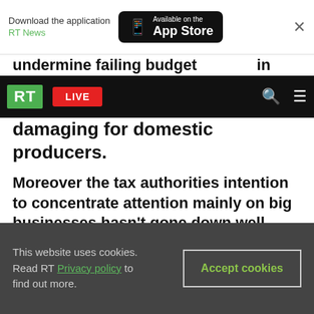Download the application RT News | Available on the App Store
RT | LIVE
damaging for domestic producers.
Moreover the tax authorities intention to concentrate attention mainly on big businesses hasn't gone down well, with David Yakobashvili, Head of Wimm-Bill-Dann predicting dire outcomes.
“I hope that it's partly a joke and something will be changed and wisdom will take over. Otherwise we're going to kill some businesses.”
The government plans to take a final decision on
This website uses cookies. Read RT Privacy policy to find out more. | Accept cookies